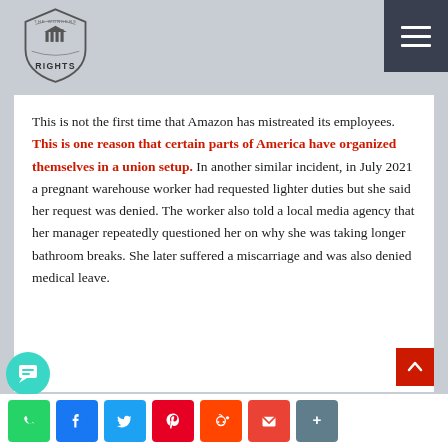The Workers Rights — navigation logo and menu
This is not the first time that Amazon has mistreated its employees. This is one reason that certain parts of America have organized themselves in a union setup. In another similar incident, in July 2021 a pregnant warehouse worker had requested lighter duties but she said her request was denied. The worker also told a local media agency that her manager repeatedly questioned her on why she was taking longer bathroom breaks. She later suffered a miscarriage and was also denied medical leave.
Social share bar: WhatsApp, Facebook, Twitter, Pinterest, Reddit, Gmail, Share